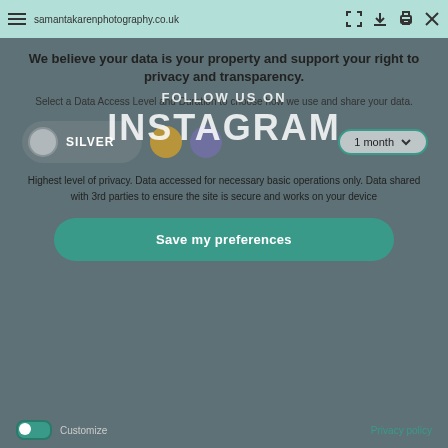samantakarenphotography.co.uk
[Figure (screenshot): Instagram overlay text reading FOLLOW US ON / INSTAGRAM in white semi-transparent letters]
We believe your data is your property and support your right to privacy and transparency.
Select a Data Access Level and Duration to choose how we use and share your data.
[Figure (infographic): Privacy tier selector showing SILVER toggle button, gold circle, purple circle, and 1 month dropdown]
Highest level of privacy. Data accessed for necessary basic operations only. Data shared with 3rd parties to ensure the site is secure and works on your device
Save my preferences
Customize   Privacy policy